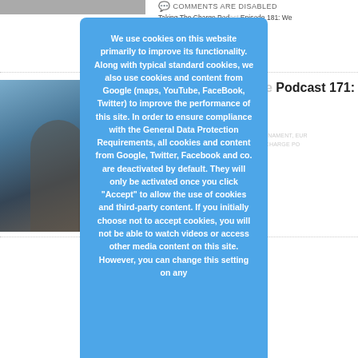[Figure (photo): Partial view of a photo at top left, cropped]
COMMENTS ARE DISABLED
Taking The Charge Podcast Episode 181: We ... with the two interview ... of Cedevita Zagreb and Ne ... mberg. To subscribe to t...
[Figure (photo): Two men in suits, one tall in gray suit with bow tie, another shorter man beside him, at a basketball event]
Taking The Charge Podcast 171: M...
ANGT, ANKS NEXT GENERATION TOURNAMENT, EUR... , EUROLEAGUE, ALBA, TAKING THE CHARGE PO...
COMMENTS ARE DISABLED
Taking The Charge Podcast Episode 171: Me... you're having a great we... Euroleague, ANGT and N... For this interview, we cha...
We use cookies on this website primarily to improve its functionality. Along with typical standard cookies, we also use cookies and content from Google (maps, YouTube, FaceBook, Twitter) to improve the performance of this site. In order to ensure compliance with the General Data Protection Requirements, all cookies and content from Google, Twitter, Facebook and co. are deactivated by default. They will only be activated once you click "Accept" to allow the use of cookies and third-party content. If you initially choose not to accept cookies, you will not be able to watch videos or access other media content on this site. However, you can change this setting on any